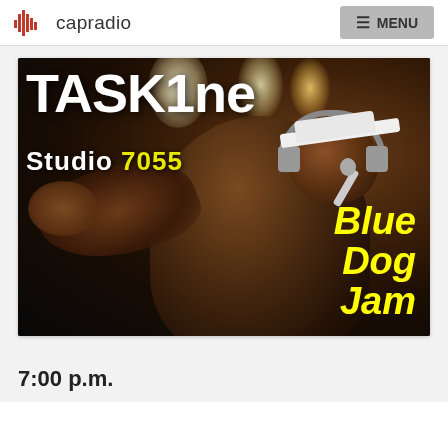capradio | MENU
[Figure (photo): Promotional photo for TASK1ne performing Blue Dog Jam at Studio 7055. Dark concert photo with performer wearing headphones under stage lights. Large white text overlay reads 'TASK1ne' and 'Studio 7055'. Yellow bold italic text overlay reads 'Blue Dog Jam'.]
7:00 p.m.